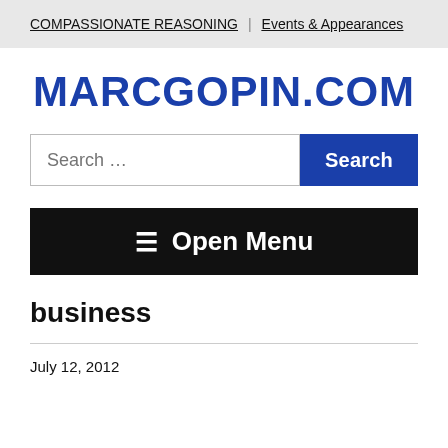COMPASSIONATE REASONING | Events & Appearances
MARCGOPIN.COM
Search ...
Open Menu
business
July 12, 2012